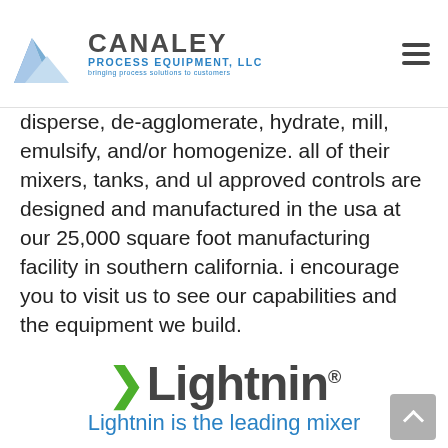Canaley Process Equipment, LLC — bringing process solutions to customers
disperse, de-agglomerate, hydrate, mill, emulsify, and/or homogenize. all of their mixers, tanks, and ul approved controls are designed and manufactured in the usa at our 25,000 square foot manufacturing facility in southern california. i encourage you to visit us to see our capabilities and the equipment we build.
For more information on scott turbon visit the Scott Turbon website.
[Figure (logo): Lightnin logo with green arrow chevron and bold Lightnin® wordmark]
Lightnin is the leading mixer